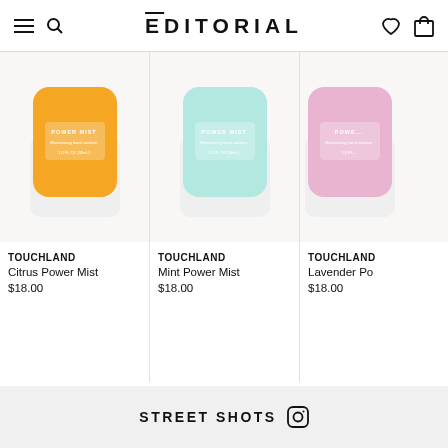EDITORIAL
[Figure (photo): Touchland Citrus Power Mist product bottle with yellow/orange label on white background]
TOUCHLAND
Citrus Power Mist
$18.00
[Figure (photo): Touchland Mint Power Mist product bottle with light blue/mint label on white background]
TOUCHLAND
Mint Power Mist
$18.00
[Figure (photo): Touchland Lavender Power Mist product bottle with pink/lavender label on white background]
TOUCHLAND
Lavender Po...
$18.00
STREET SHOTS